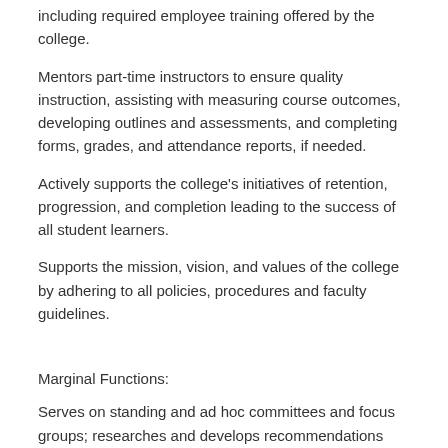including required employee training offered by the college.
Mentors part-time instructors to ensure quality instruction, assisting with measuring course outcomes, developing outlines and assessments, and completing forms, grades, and attendance reports, if needed.
Actively supports the college's initiatives of retention, progression, and completion leading to the success of all student learners.
Supports the mission, vision, and values of the college by adhering to all policies, procedures and faculty guidelines.
Marginal Functions:
Serves on standing and ad hoc committees and focus groups; researches and develops recommendations related to academic and instructional programs; maintains contacts with business, industry, and professional organizations for the purpose of keeping instructional programs current.
Participates in the development and delivery of public